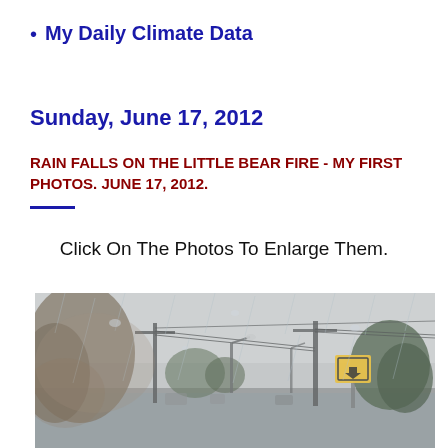My Daily Climate Data
Sunday, June 17, 2012
RAIN FALLS ON THE LITTLE BEAR FIRE - MY FIRST PHOTOS. JUNE 17, 2012.
Click On The Photos To Enlarge Them.
[Figure (photo): Rainy street scene viewed through a wet windshield. Overcast sky, flooded road, utility poles with power lines, trees, a street lamp, and a yellow warning road sign on the right side.]